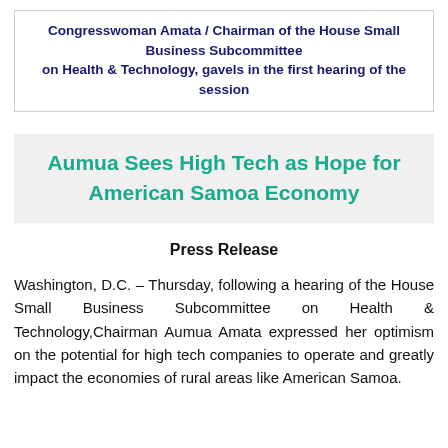Congresswoman Amata / Chairman of the House Small Business Subcommittee on Health & Technology, gavels in the first hearing of the session
Aumua Sees High Tech as Hope for American Samoa Economy
Press Release
Washington, D.C. – Thursday, following a hearing of the House Small Business Subcommittee on Health & Technology,Chairman Aumua Amata expressed her optimism on the potential for high tech companies to operate and greatly impact the economies of rural areas like American Samoa.